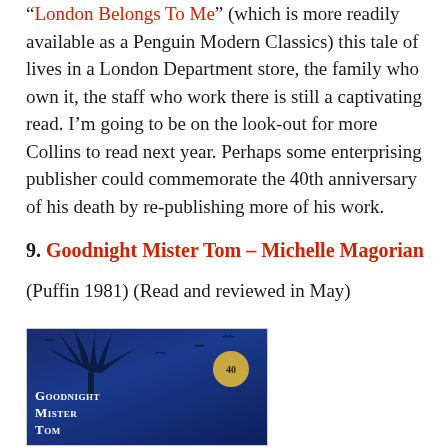“London Belongs To Me” (which is more readily available as a Penguin Modern Classics) this tale of lives in a London Department store, the family who own it, the staff who work there is still a captivating read. I’m going to be on the look-out for more Collins to read next year. Perhaps some enterprising publisher could commemorate the 40th anniversary of his death by re-publishing more of his work.
9. Goodnight Mister Tom – Michelle Magorian
(Puffin 1981) (Read and reviewed in May)
[Figure (photo): Book cover of Goodnight Mister Tom by Michelle Magorian (Puffin). Dark blue cover with silhouette of a tree and birds. Gold circular badge showing '40'. Title text 'Goodnight Mister Tom' in white small-caps at the bottom.]